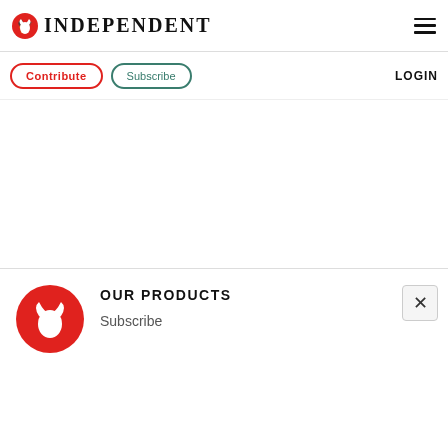INDEPENDENT
Contribute  Subscribe  LOGIN
[Figure (illustration): Large white blank content area]
[Figure (logo): The Independent red circle eagle logo in footer]
OUR PRODUCTS
Subscribe